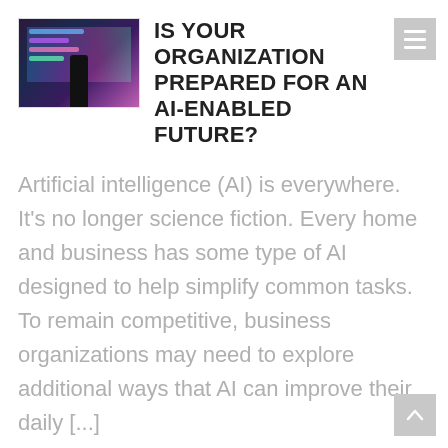[Figure (photo): A silhouette of a person standing in front of a large colorful digital display screen with glowing data visualizations in blue, purple, pink, and green.]
IS YOUR ORGANIZATION PREPARED FOR AN AI-ENABLED FUTURE?
Artificial intelligence (AI) is everywhere. It's no longer science fiction. Every home and business has some type of AI designed to help simplify common tasks. To remain competitive, business organizations may need to explore additional ways that AI can improve their daily [...]